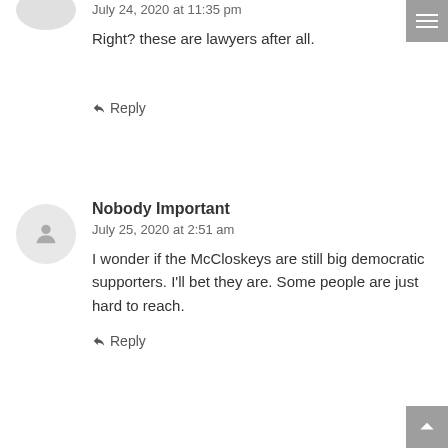July 24, 2020 at 11:35 pm
Right? these are lawyers after all.
↩ Reply
Nobody Important
July 25, 2020 at 2:51 am
I wonder if the McCloskeys are still big democratic supporters. I'll bet they are. Some people are just hard to reach.
↩ Reply